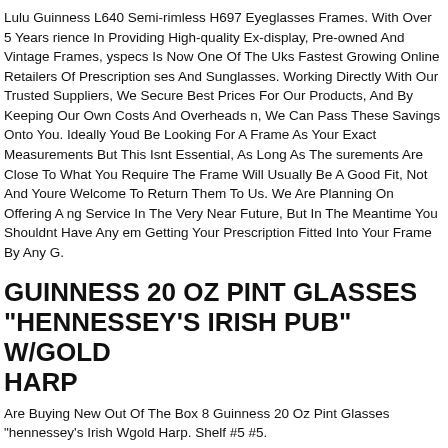Lulu Guinness L640 Semi-rimless H697 Eyeglasses Frames. With Over 5 Years rience In Providing High-quality Ex-display, Pre-owned And Vintage Frames, yspecs Is Now One Of The Uks Fastest Growing Online Retailers Of Prescription ses And Sunglasses. Working Directly With Our Trusted Suppliers, We Secure Best Prices For Our Products, And By Keeping Our Own Costs And Overheads n, We Can Pass These Savings Onto You. Ideally Youd Be Looking For A Frame As Your Exact Measurements But This Isnt Essential, As Long As The surements Are Close To What You Require The Frame Will Usually Be A Good Fit, Not And Youre Welcome To Return Them To Us. We Are Planning On Offering A ng Service In The Very Near Future, But In The Meantime You Shouldnt Have Any em Getting Your Prescription Fitted Into Your Frame By Any G.
GUINNESS 20 OZ PINT GLASSES "HENNESSEY'S IRISH PUB" W/GOLD HARP
Are Buying New Out Of The Box 8 Guinness 20 Oz Pint Glasses "hennessey's Irish Wgold Harp. Shelf #5 #5.
GUINNESS BOOK OF WORLD RECORDS XL DRINKING GLASSES 76 STERLING PUBLISHING